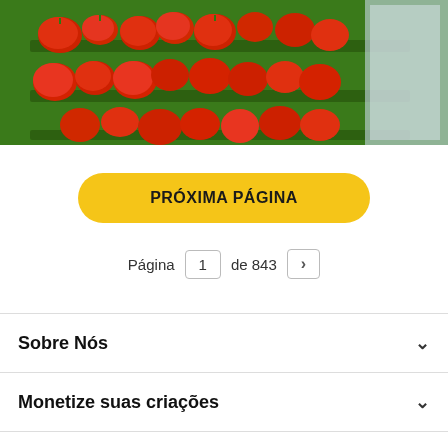[Figure (photo): Photo of red tomatoes displayed on green shelving in a supermarket produce section]
PRÓXIMA PÁGINA
Página 1 de 843 >
Sobre Nós
Monetize suas criações
Serviços